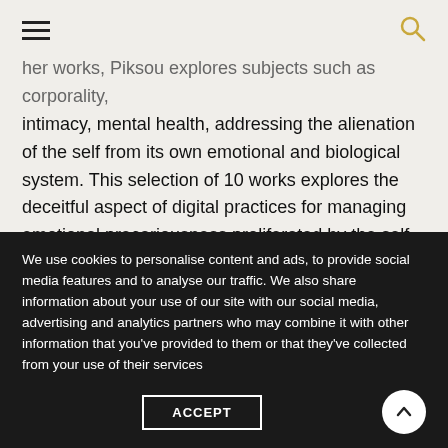≡  🔍
her works, Piksou explores subjects such as corporality, intimacy, mental health, addressing the alienation of the self from its own emotional and biological system. This selection of 10 works explores the deceitful aspect of digital practices for managing emotional precariousness proliferated by the self-help industry.
DASTAN'S BASEMENT
We use cookies to personalise content and ads, to provide social media features and to analyse our traffic. We also share information about your use of our site with our social media, advertising and analytics partners who may combine it with other information that you've provided to them or that they've collected from your use of their services
ACCEPT